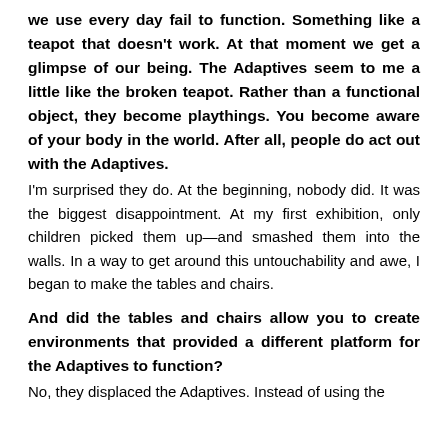we use every day fail to function. Something like a teapot that doesn't work. At that moment we get a glimpse of our being. The Adaptives seem to me a little like the broken teapot. Rather than a functional object, they become playthings. You become aware of your body in the world. After all, people do act out with the Adaptives.
I'm surprised they do. At the beginning, nobody did. It was the biggest disappointment. At my first exhibition, only children picked them up—and smashed them into the walls. In a way to get around this untouchability and awe, I began to make the tables and chairs.
And did the tables and chairs allow you to create environments that provided a different platform for the Adaptives to function?
No, they displaced the Adaptives. Instead of using the